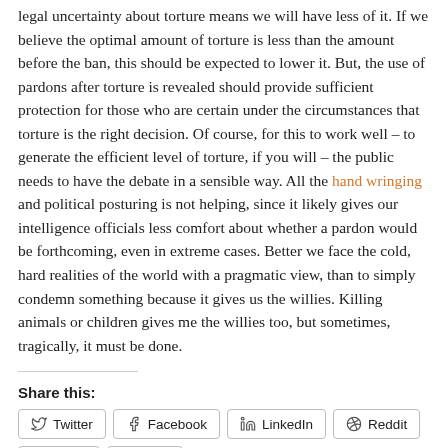legal uncertainty about torture means we will have less of it. If we believe the optimal amount of torture is less than the amount before the ban, this should be expected to lower it. But, the use of pardons after torture is revealed should provide sufficient protection for those who are certain under the circumstances that torture is the right decision. Of course, for this to work well – to generate the efficient level of torture, if you will – the public needs to have the debate in a sensible way. All the hand wringing and political posturing is not helping, since it likely gives our intelligence officials less comfort about whether a pardon would be forthcoming, even in extreme cases. Better we face the cold, hard realities of the world with a pragmatic view, than to simply condemn something because it gives us the willies. Killing animals or children gives me the willies too, but sometimes, tragically, it must be done.
Share this:
Twitter
Facebook
LinkedIn
Reddit
Email
Print
[Figure (infographic): Social sharing icon buttons: Facebook (blue f), Twitter (blue bird), Email (blue envelope), Plus/share (blue plus sign)]